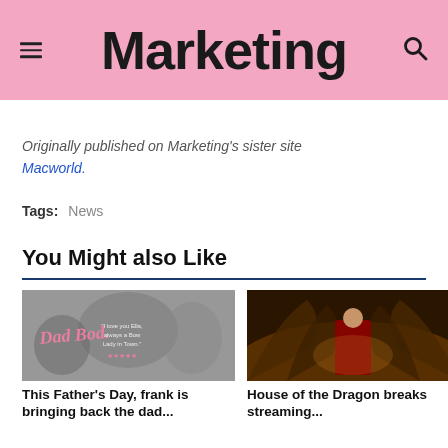Marketing
Originally published on Marketing's sister site Macworld.
Tags:  News
You Might also Like
[Figure (photo): Black and white photo with pink cursive 'Dad Bod' text overlay and a quote, showing muscular men]
This Father's Day, frank is bringing back the dad...
[Figure (photo): Fantasy-style image of a figure in red robes surrounded by dragons or large wings, dark golden tones]
House of the Dragon breaks streaming...